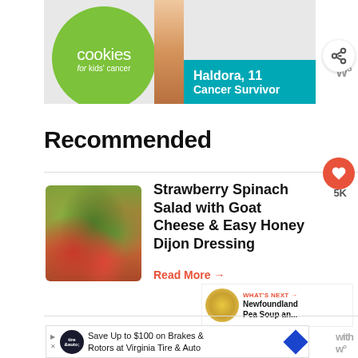[Figure (photo): Advertisement banner for Cookies for Kids Cancer featuring a green circle logo with text 'cookies for kids cancer', a person holding a chocolate pancake stack, and a teal box reading 'Haldora, 11 Cancer Survivor']
Recommended
[Figure (photo): Food photo of Strawberry Spinach Salad with Goat Cheese]
Strawberry Spinach Salad with Goat Cheese & Easy Honey Dijon Dressing
5K
Read More →
WHAT'S NEXT → Newfoundland Pea Soup an...
[Figure (photo): Advertisement for Save Up to $100 on Brakes & Rotors at Virginia Tire & Auto]